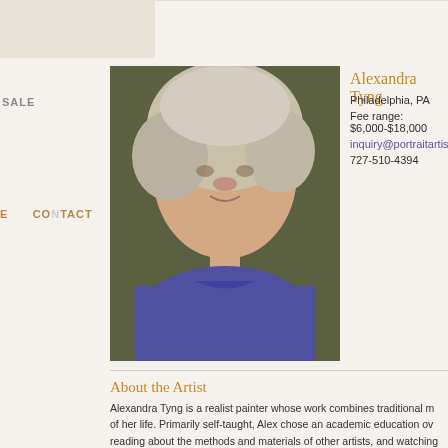[Figure (photo): Portrait photo of Alexandra Tyng, a woman with curly gray/blonde hair, wearing a purple top, photographed indoors with dark background]
Alexandra Tyng
Philadelphia, PA
Fee range: $6,000-$18,000
inquiry@portraitartist.com
727-510-4394
About the Artist
Alexandra Tyng is a realist painter whose work combines traditional m of her life. Primarily self-taught, Alex chose an academic education ov reading about the methods and materials of other artists, and watching
Alex's portraits incorporate descriptive backgrounds and a uniquely fi
more ▶
Portrait Fees
To inquire about commissioning a portrait or works available please co